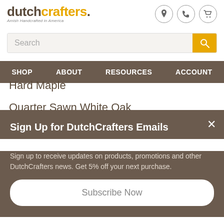[Figure (logo): DutchCrafters logo with tagline 'Amish Handcrafted in America']
[Figure (infographic): Header icons: location pin, phone, shopping cart in circles]
Search
SHOP  ABOUT  RESOURCES  ACCOUNT
Hard Maple
Quarter Sawn White Oak
Hickory
Cherry
Sign Up for DutchCrafters Emails
Sign up to receive updates on products, promotions and other DutchCrafters news. Get 5% off your next purchase.
Subscribe Now